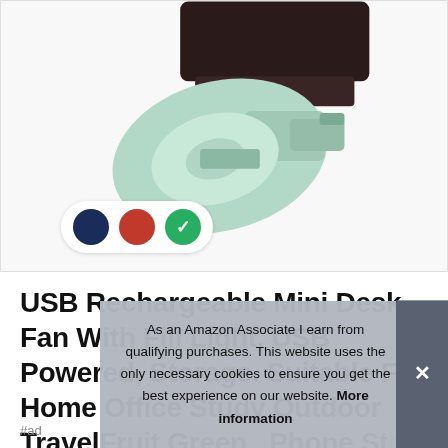[Figure (photo): A USB mini desk fan product photo showing a light mint/green colored fan on a white background with a dark charging case visible at top. Three color selection circles at bottom: navy blue, red, and green (selected with checkmark).]
USB Rechargeable Mini Desk Fan With Fill Light, USB Powered, Storage. Suitable For Home Office Study Outdoor TravelFruit Green., Phone Stand Small Fan With Adjustable Speed...
As an Amazon Associate I earn from qualifying purchases. This website uses the only necessary cookies to ensure you get the best experience on our website. More information
#ad